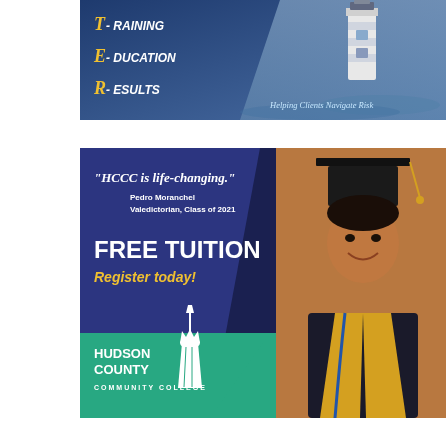[Figure (illustration): Advertisement banner with dark blue background showing T-RAINING, E-DUCATION, R-ESULTS text with lighthouse image and 'Helping Clients Navigate Risk' slogan]
[Figure (illustration): Hudson County Community College advertisement with quote 'HCCC is life-changing.' by Pedro Moranchel, Valedictorian Class of 2021, FREE TUITION Register today!, with photo of smiling graduate in cap and gown with gold stole, teal section with HCCC logo]